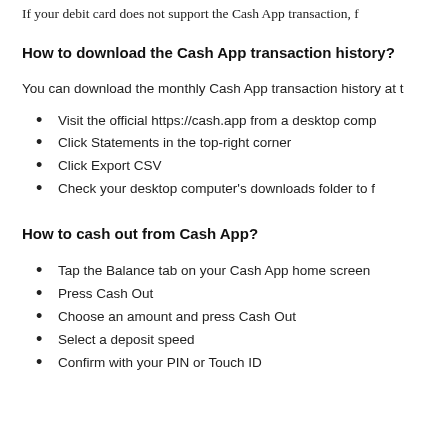If your debit card does not support the Cash App transaction, f...
How to download the Cash App transaction history?
You can download the monthly Cash App transaction history at t...
Visit the official https://cash.app from a desktop comp...
Click Statements in the top-right corner
Click Export CSV
Check your desktop computer's downloads folder to f...
How to cash out from Cash App?
Tap the Balance tab on your Cash App home screen...
Press Cash Out
Choose an amount and press Cash Out
Select a deposit speed
Confirm with your PIN or Touch ID